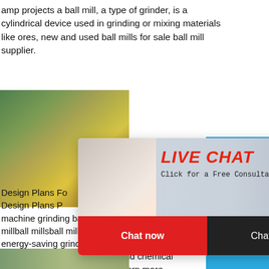amp projects a ball mill, a type of grinder, is a cylindrical device used in grinding or mixing materials like ores, new and used ball mills for sale ball mill supplier.
Read More
[Figure (photo): Mining/quarry facility with heavy machinery and rocky landscape]
[Figure (photo): Live chat popup overlay with worker in hard hat, LIVE CHAT title in red italic, 'Click for a Free Consultation', Chat now and Chat later buttons]
[Figure (photo): Right sidebar with blue background showing a cone crusher machine, hour online text, Click me to chat>> button, Enquiry section, and limingjlmofen text]
Design Plans Fo
Design Plans P
machine grinding ball mill design stone crus
millball millsball mill machineball grinding m
energy-saving grinding device is widely use
processing building materials and chemical
grinds material by rotating a . learn more .
Read More